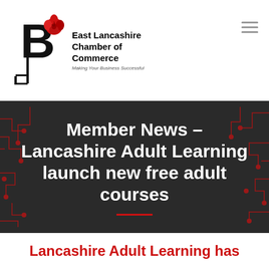[Figure (logo): East Lancashire Chamber of Commerce logo with stylized B and rose, tagline: Making Your Business Successful]
Member News – Lancashire Adult Learning launch new free adult courses
Lancashire Adult Learning has